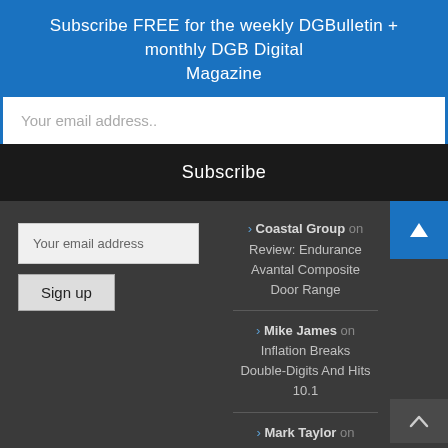Subscribe FREE for the weekly DGBulletin + monthly DGB Digital Magazine
Your email address..
Subscribe
Your email address
Sign up
> Coastal Group on Review: Endurance Avantal Composite Door Range
> Mike James on Inflation Breaks Double-Digits And Hits 10.1
> Mark Taylor on